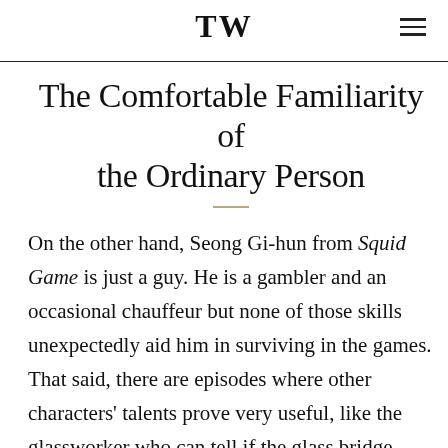TW
The Comfortable Familiarity of the Ordinary Person
On the other hand, Seong Gi-hun from Squid Game is just a guy. He is a gambler and an occasional chauffeur but none of those skills unexpectedly aid him in surviving in the games. That said, there are episodes where other characters' talents prove very useful, like the glassworker who can tell if the glass bridge panels the players must step on are made from regular or